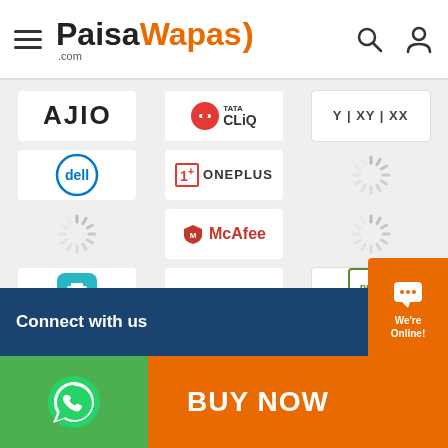PaisaWapas.com
[Figure (logo): AJIO logo - white background box with AJIO text in dark grey capitals]
[Figure (logo): Tata CLiQ logo - Q icon with TATA CLiQ text]
[Figure (logo): XYXX logo in bordered box]
[Figure (logo): Dell logo - circular blue Dell badge]
[Figure (logo): OnePlus logo - red 1+ icon with ONEPLUS text]
[Figure (logo): Loading spinner placeholder]
[Figure (logo): Loading spinner placeholder]
[Figure (logo): McAfee logo - red shield icon with McAfee text]
[Figure (logo): Loading spinner placeholder]
[Figure (logo): Meesho logo - teal square with shopping cart icon]
[Figure (logo): DaMENSCH logo - bold black text]
[Figure (logo): pure sense logo - green curly brace logo]
[Figure (logo): Coco Soul logo - dark brown background with coconut icon]
[Figure (logo): Loading spinner placeholder]
[Figure (logo): boAt logo - black bold text]
Connect with us
BUY NOW
We're Online!